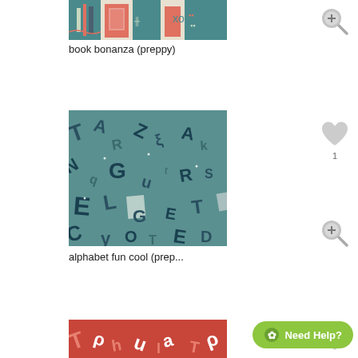[Figure (photo): Book bonanza preppy fabric pattern thumbnail showing colorful stacked books pattern in teal, coral, and cream]
book bonanza (preppy)
[Figure (illustration): Magnifying glass icon with plus sign for zoom]
[Figure (photo): Alphabet fun cool preppy fabric pattern thumbnail showing scattered letters in teal and dark navy on teal background]
alphabet fun cool (prep...
[Figure (illustration): Heart icon with count 1, indicating 1 like]
[Figure (illustration): Magnifying glass icon with plus sign for zoom]
[Figure (photo): Third fabric pattern thumbnail partially visible at bottom, coral/red background with letters]
[Figure (illustration): Heart icon for third item]
Need Help?